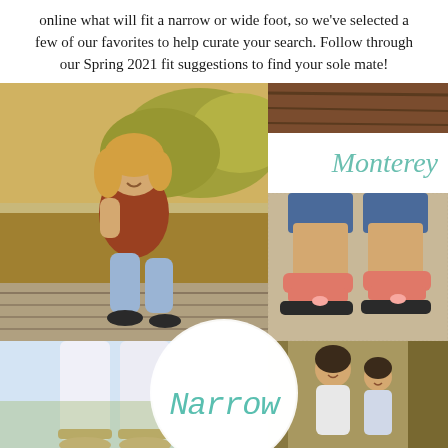online what will fit a narrow or wide foot, so we've selected a few of our favorites to help curate your search. Follow through our Spring 2021 fit suggestions to find your sole mate!
[Figure (photo): Collage of four photos: top-left shows a smiling woman in a rust top and jeans sitting on a dock wearing black heeled mules outdoors; top-right shows pink/coral strap sandals with block soles worn with jeans with 'Monterey' text overlay; bottom-left shows legs in white pants and sandals; bottom-right shows two women standing outdoors. A circular white overlay with 'Narrow' in teal cursive script is centered over the collage.]